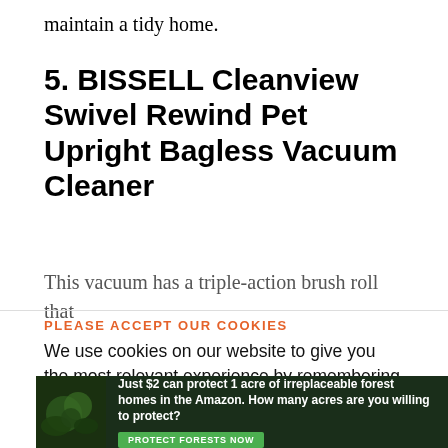maintain a tidy home.
5. BISSELL Cleanview Swivel Rewind Pet Upright Bagless Vacuum Cleaner
This vacuum has a triple-action brush roll that
PLEASE ACCEPT OUR COOKIES
We use cookies on our website to give you the most relevant experience by remembering your preferences and repeat visits. By clicking “Accept”, you consent to the use of all the cookies.
Do not sell my personal information.
[Figure (screenshot): Cookie consent buttons: a gray decline button and a green accept button]
[Figure (infographic): Ad banner with forest/Amazon imagery: 'Just $2 can protect 1 acre of irreplaceable forest homes in the Amazon. How many acres are you willing to protect?' with a green PROTECT FORESTS NOW button]